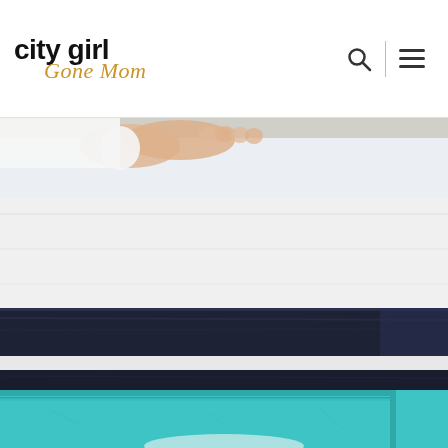city girl Gone Mom
[Figure (photo): Close-up photo of a person's hands placing or smoothing a white mattress on a dark navy/black bed frame. The mattress shows a white surface on top, a dark box spring below, a white foundation layer, and another dark piece beneath. The layered structure of the bed is visible.]
[Figure (photo): Partial view of a teal/turquoise colored headboard or furniture piece at the bottom of the page.]